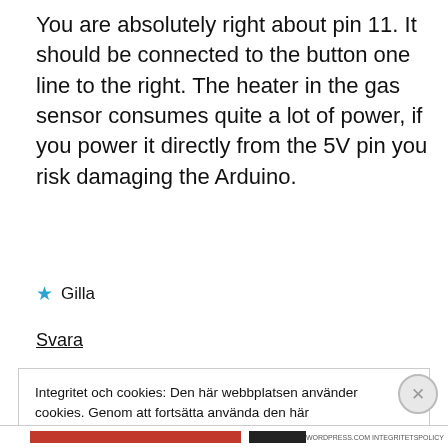You are absolutely right about pin 11. It should be connected to the button one line to the right. The heater in the gas sensor consumes quite a lot of power, if you power it directly from the 5V pin you risk damaging the Arduino.
★ Gilla
Svara
Integritet och cookies: Den här webbplatsen använder cookies. Genom att fortsätta använda den här webbplatsen godkänner du deras användning.
Om du vill veta mer, inklusive hur du kontrollerar cookies, se: Cookie-policy
Stäng och acceptera